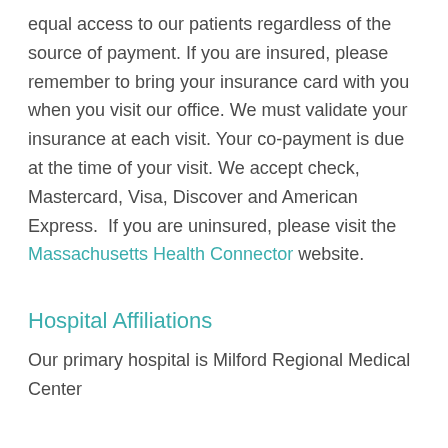equal access to our patients regardless of the source of payment. If you are insured, please remember to bring your insurance card with you when you visit our office. We must validate your insurance at each visit. Your co-payment is due at the time of your visit. We accept check, Mastercard, Visa, Discover and American Express.  If you are uninsured, please visit the Massachusetts Health Connector website.
Hospital Affiliations
Our primary hospital is Milford Regional Medical Center